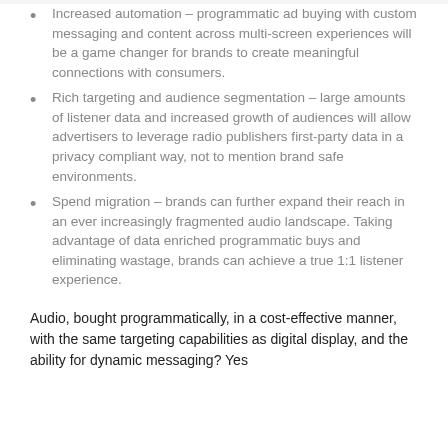Increased automation – programmatic ad buying with custom messaging and content across multi-screen experiences will be a game changer for brands to create meaningful connections with consumers.
Rich targeting and audience segmentation – large amounts of listener data and increased growth of audiences will allow advertisers to leverage radio publishers first-party data in a privacy compliant way, not to mention brand safe environments.
Spend migration – brands can further expand their reach in an ever increasingly fragmented audio landscape. Taking advantage of data enriched programmatic buys and eliminating wastage, brands can achieve a true 1:1 listener experience.
Audio, bought programmatically, in a cost-effective manner, with the same targeting capabilities as digital display, and the ability for dynamic messaging? Yes